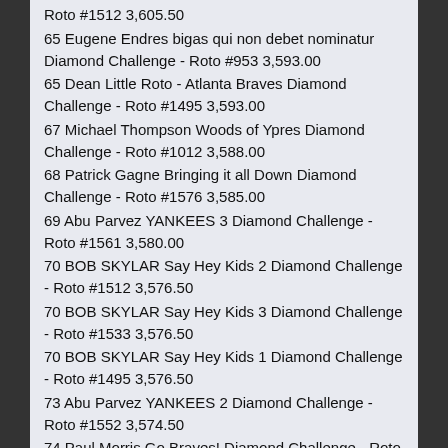Roto #1512 3,605.50
65 Eugene Endres bigas qui non debet nominatur Diamond Challenge - Roto #953 3,593.00
65 Dean Little Roto - Atlanta Braves Diamond Challenge - Roto #1495 3,593.00
67 Michael Thompson Woods of Ypres Diamond Challenge - Roto #1012 3,588.00
68 Patrick Gagne Bringing it all Down Diamond Challenge - Roto #1576 3,585.00
69 Abu Parvez YANKEES 3 Diamond Challenge - Roto #1561 3,580.00
70 BOB SKYLAR Say Hey Kids 2 Diamond Challenge - Roto #1512 3,576.50
70 BOB SKYLAR Say Hey Kids 3 Diamond Challenge - Roto #1533 3,576.50
70 BOB SKYLAR Say Hey Kids 1 Diamond Challenge - Roto #1495 3,576.50
73 Abu Parvez YANKEES 2 Diamond Challenge - Roto #1552 3,574.50
74 Paul Morris Go Braves! Diamond Challenge - Roto #953 3,573.00
75 Carlos Lopez Cuban Comet Diamond Challenge - Roto #1512 3,544.50
76 Jack McQueen BayAreaBlueJays-DC Diamond Challenge - Roto #1576 3,543.00